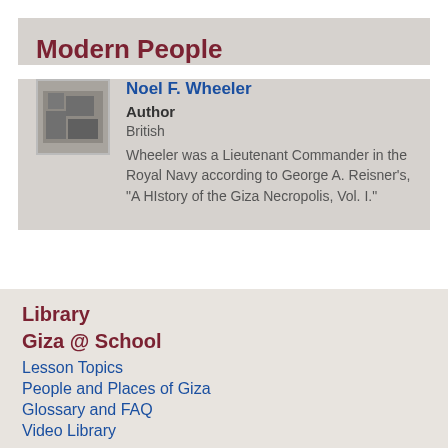Modern People
[Figure (photo): Small black and white photograph of Noel F. Wheeler]
Noel F. Wheeler
Author
British
Wheeler was a Lieutenant Commander in the Royal Navy according to George A. Reisner's, "A HIstory of the Giza Necropolis, Vol. I."
Library
Giza @ School
Lesson Topics
People and Places of Giza
Glossary and FAQ
Video Library